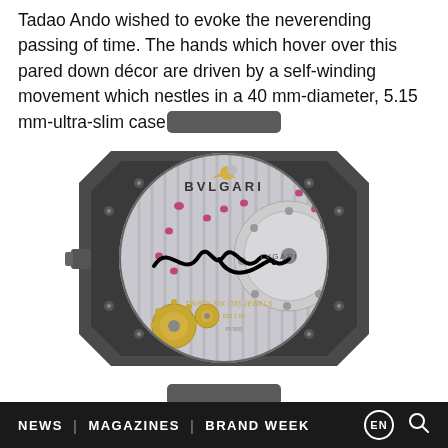Tadao Ando wished to evoke the neverending passing of time. The hands which hover over this pared down décor are driven by a self-winding movement which nestles in a 40 mm-diameter, 5.15 mm-ultra-slim case.
[Figure (photo): Back caseback view of a Bvlgari Octo watch movement, showing the transparent case back with 'TADAO ANDO - LIMITED EDITION' inscription, BVLGARI branding, movement details including 'THIRTY-SIX (36) JEWELS', model numbers BGO40TXT and PO 5072, a bold signature across the movement, Swiss Made text, 6 ATM rating, and the partially visible movement components including golden gears and ruby jewels.]
NEWS  |  MAGAZINES  |  BRAND WEEK  EN  [search]